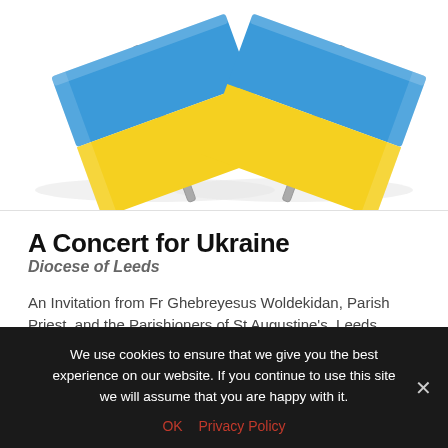[Figure (illustration): Two crossed Ukrainian flags (blue and yellow) on grey flagpoles against a white background]
A Concert for Ukraine
Diocese of Leeds
An Invitation from Fr Ghebreyesus Woldekidan, Parish Priest, and the Parishioners of St Augustine's, Leeds...
read more
We use cookies to ensure that we give you the best experience on our website. If you continue to use this site we will assume that you are happy with it.
OK  Privacy Policy